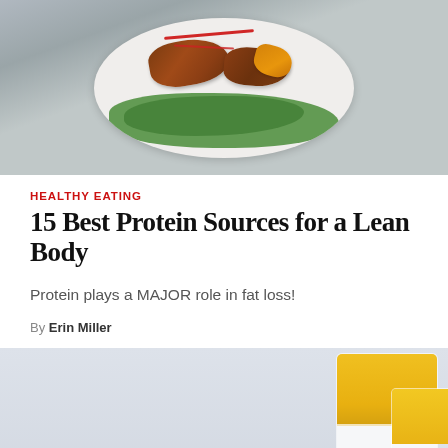[Figure (photo): Overhead photo of a white plate with grilled/barbecue meat slices on a bed of fresh spinach/arugula greens with red sauce drizzle and orange vegetable pieces, on a gray stone background]
HEALTHY EATING
15 Best Protein Sources for a Lean Body
Protein plays a MAJOR role in fat loss!
By Erin Miller
[Figure (photo): Photo of multiple glass bowls and cups containing yellow/mango colored liquid or pudding layered with white cream/yogurt, with a spoon on the left, on a light gray-blue background]